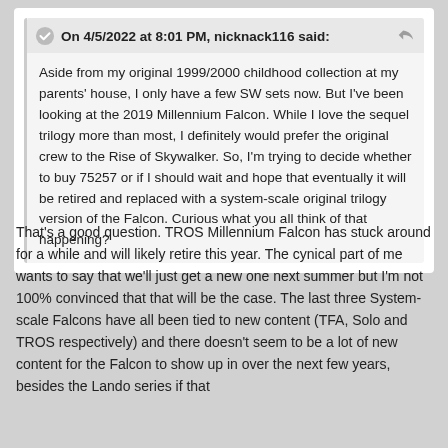On 4/5/2022 at 8:01 PM, nicknack116 said:
Aside from my original 1999/2000 childhood collection at my parents' house, I only have a few SW sets now. But I've been looking at the 2019 Millennium Falcon. While I love the sequel trilogy more than most, I definitely would prefer the original crew to the Rise of Skywalker. So, I'm trying to decide whether to buy 75257 or if I should wait and hope that eventually it will be retired and replaced with a system-scale original trilogy version of the Falcon. Curious what you all think of that happening?
That's a good question. TROS Millennium Falcon has stuck around for a while and will likely retire this year. The cynical part of me wants to say that we'll just get a new one next summer but I'm not 100% convinced that that will be the case. The last three System-scale Falcons have all been tied to new content (TFA, Solo and TROS respectively) and there doesn't seem to be a lot of new content for the Falcon to show up in over the next few years, besides the Lando series if that